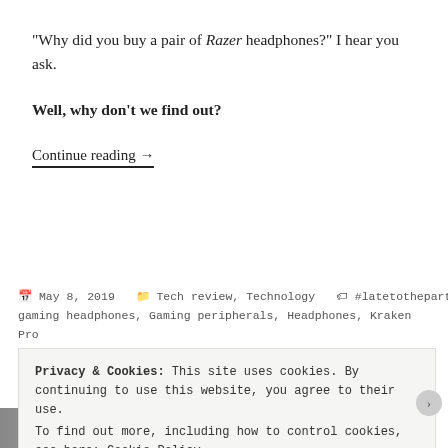“Why did you buy a pair of Razer headphones?” I hear you ask.
Well, why don’t we find out?
Continue reading →
May 8, 2019  Tech review, Technology  #latetotheparty, gaming headphones, Gaming peripherals, Headphones, Kraken Pro V2, Razer, Razer Kraken Pro V2, tech, Tech review, technology review  Leave a comment
Privacy & Cookies: This site uses cookies. By continuing to use this website, you agree to their use. To find out more, including how to control cookies, see here: Cookie Policy
Close and accept